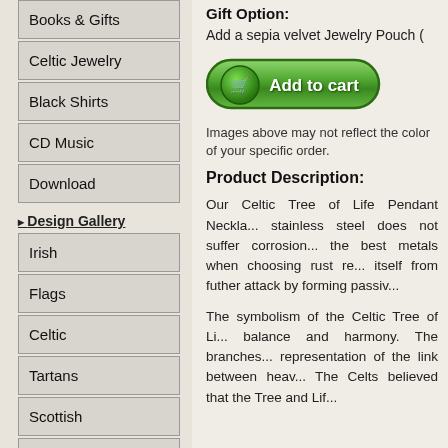Books & Gifts
Celtic Jewelry
Black Shirts
CD Music
Download
Design Gallery
Irish
Flags
Celtic
Tartans
Scottish
Claddagh
Surnames
Highlander
Gift Option:
Add a sepia velvet Jewelry Pouch (
[Figure (other): Green Add to cart button with shopping cart icon]
Images above may not reflect the color of your specific order.
Product Description:
Our Celtic Tree of Life Pendant Neckla... stainless steel does not suffer corrosion... the best metals when choosing rust re... itself from futher attack by forming passiv...
The symbolism of the Celtic Tree of Li... balance and harmony. The branches... representation of the link between heav... The Celts believed that the Tree of Lif...